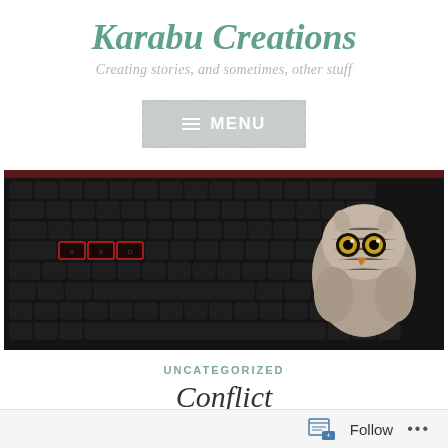Karabu Creations
Creating stories, and sometimes, other stuff
[Figure (other): Menu button with dashed border and hamburger icon]
[Figure (photo): Photo of a dark gaming keyboard with red-highlighted keys and a small crocheted owl toy resting on the right side]
UNCATEGORIZED
Conflict
Follow ...